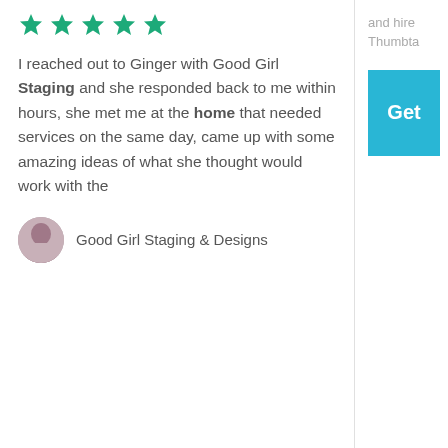[Figure (other): Five green star rating icons]
I reached out to Ginger with Good Girl Staging and she responded back to me within hours, she met me at the home that needed services on the same day, came up with some amazing ideas of what she thought would work with the
Good Girl Staging & Designs
and hire Thumbta
Get
Why hire professionals on Thumbtack?
[Figure (illustration): Dollar sign circle icon]